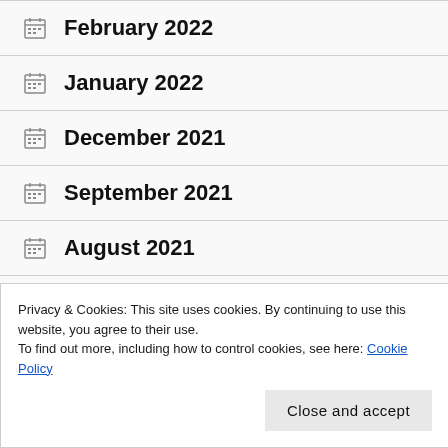February 2022
January 2022
December 2021
September 2021
August 2021
July 2021
Privacy & Cookies: This site uses cookies. By continuing to use this website, you agree to their use.
To find out more, including how to control cookies, see here: Cookie Policy
April 2021